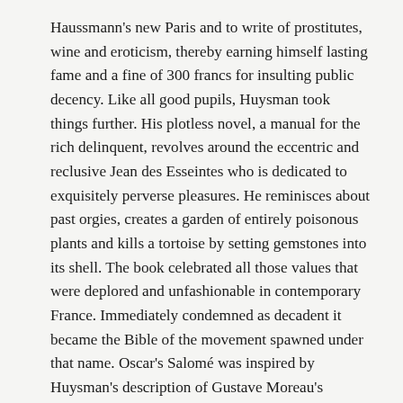Haussmann's new Paris and to write of prostitutes, wine and eroticism, thereby earning himself lasting fame and a fine of 300 francs for insulting public decency. Like all good pupils, Huysman took things further. His plotless novel, a manual for the rich delinquent, revolves around the eccentric and reclusive Jean des Esseintes who is dedicated to exquisitely perverse pleasures. He reminisces about past orgies, creates a garden of entirely poisonous plants and kills a tortoise by setting gemstones into its shell. The book celebrated all those values that were deplored and unfashionable in contemporary France. Immediately condemned as decadent it became the Bible of the movement spawned under that name. Oscar's Salomé was inspired by Huysman's description of Gustave Moreau's painting of the Dancer of the Seven Veils; it is the handbook of erotic advice given to Dorian Gray by Lord Henry Wotton claiming it contained 'all the sins of the world'. A copy of 'A Rebours' was produced by the